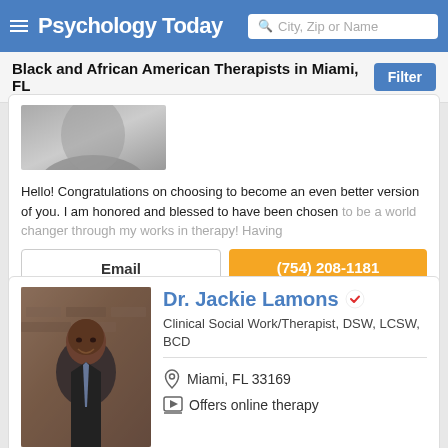Psychology Today — City, Zip or Name search
Black and African American Therapists in Miami, FL
[Figure (photo): Partial therapist profile photo (grayscale, cropped)]
Hello! Congratulations on choosing to become an even better version of you. I am honored and blessed to have been chosen to be a world changer through my works in therapy! Having
Email
(754) 208-1181
[Figure (photo): Profile photo of Dr. Jackie Lamons, a Black man in a suit and tie, smiling, with a brick wall background]
Dr. Jackie Lamons
Clinical Social Work/Therapist, DSW, LCSW, BCD
Miami, FL 33169
Offers online therapy
I have worked with youth and adults, providing therapy in the